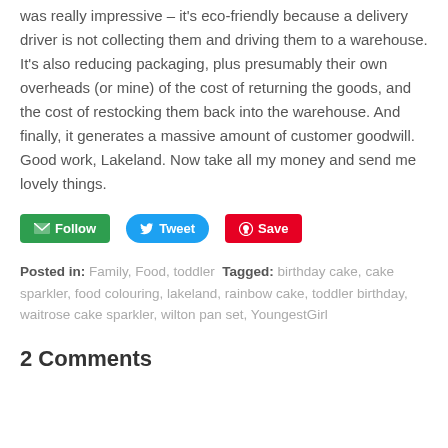was really impressive – it's eco-friendly because a delivery driver is not collecting them and driving them to a warehouse. It's also reducing packaging, plus presumably their own overheads (or mine) of the cost of returning the goods, and the cost of restocking them back into the warehouse. And finally, it generates a massive amount of customer goodwill. Good work, Lakeland. Now take all my money and send me lovely things.
[Figure (other): Social sharing buttons: green Follow button with envelope icon, blue Tweet button with bird icon, red Save button with Pinterest icon]
Posted in: Family, Food, toddler Tagged: birthday cake, cake sparkler, food colouring, lakeland, rainbow cake, toddler birthday, waitrose cake sparkler, wilton pan set, YoungestGirl
2 Comments